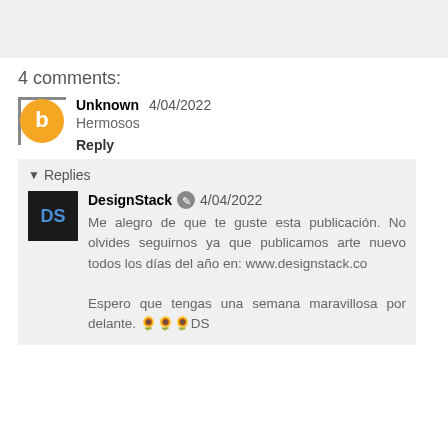4 comments:
Unknown 4/04/2022
Hermosos
Reply
Replies
DesignStack 4/04/2022
Me alegro de que te guste esta publicación. No olvides seguirnos ya que publicamos arte nuevo todos los días del año en: www.designstack.co

Espero que tengas una semana maravillosa por delante. 🌻🌻🌻DS